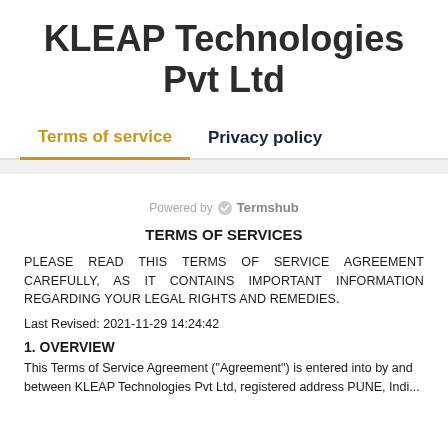KLEAP Technologies Pvt Ltd
Terms of service | Privacy policy
Powered by Termshub
TERMS OF SERVICES
PLEASE READ THIS TERMS OF SERVICE AGREEMENT CAREFULLY, AS IT CONTAINS IMPORTANT INFORMATION REGARDING YOUR LEGAL RIGHTS AND REMEDIES.
Last Revised: 2021-11-29 14:24:42
1. OVERVIEW
This Terms of Service Agreement ("Agreement") is entered into by and between KLEAP Technologies Pvt Ltd, registered address PUNE, Indi...